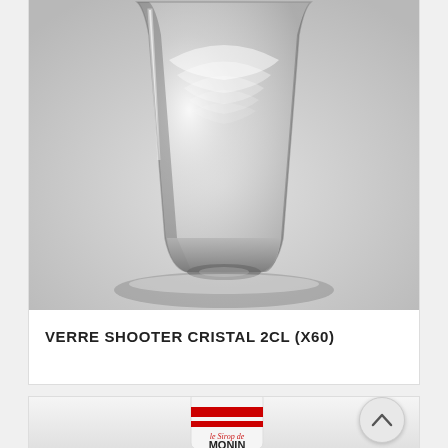[Figure (photo): Close-up photo of a clear crystal shooter glass (shot glass), 2cl size, on a light grey background. The glass is short and cylindrical with a thick base.]
VERRE SHOOTER CRISTAL 2CL (X60)
[Figure (photo): Partial view of a Monin syrup bottle (white cap with red stripe and Monin script logo), partially visible at the bottom of the page.]